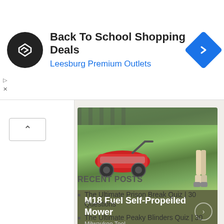[Figure (other): Advertisement banner: black circle logo with double-arrow chevron icon, title 'Back To School Shopping Deals', subtitle 'Leesburg Premium Outlets', blue diamond navigation icon on right]
[Figure (photo): Product carousel card showing a red Milwaukee M18 Fuel Self-Propelled Mower on green grass with a person's legs visible, with olive green overlay showing product name and brand 'Milwaukee Tool']
RECENT POSTS
The Ultimate Prison Break Quiz | 30 Questions
The Ultimate Peaky Blinders Quiz | 30 Questions